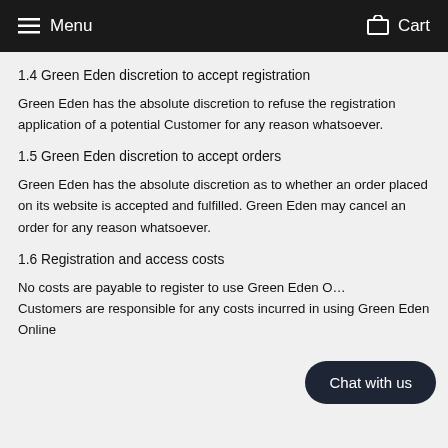Menu  Cart
1.4 Green Eden discretion to accept registration
Green Eden has the absolute discretion to refuse the registration application of a potential Customer for any reason whatsoever.
1.5 Green Eden discretion to accept orders
Green Eden has the absolute discretion as to whether an order placed on its website is accepted and fulfilled. Green Eden may cancel an order for any reason whatsoever.
1.6 Registration and access costs
No costs are payable to register to use Green Eden O… Customers are responsible for any costs incurred in using Green Eden Online